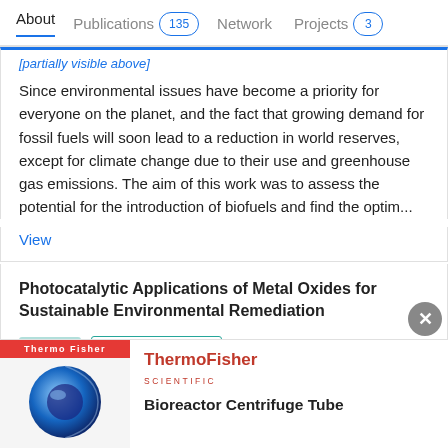About | Publications 135 | Network | Projects 3
Since environmental issues have become a priority for everyone on the planet, and the fact that growing demand for fossil fuels will soon lead to a reduction in world reserves, except for climate change due to their use and greenhouse gas emissions. The aim of this work was to assess the potential for the introduction of biofuels and find the optim...
View
Photocatalytic Applications of Metal Oxides for Sustainable Environmental Remediation
Article  Full-text available
Jan 2021    Advertisement
[Figure (photo): ThermoFisher Scientific advertisement showing a blue bioreactor centrifuge tube on a white background with red brand bar at top]
ThermoFisher Scientific
Bioreactor Centrifuge Tube